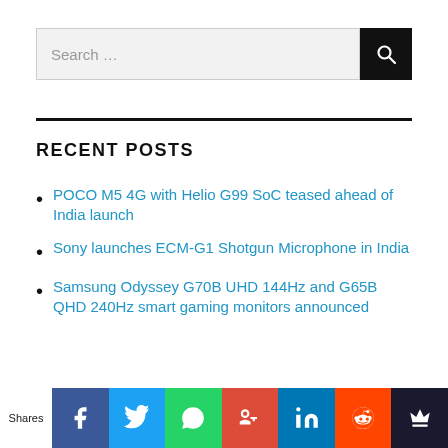Search …
RECENT POSTS
POCO M5 4G with Helio G99 SoC teased ahead of India launch
Sony launches ECM-G1 Shotgun Microphone in India
Samsung Odyssey G70B UHD 144Hz and G65B QHD 240Hz smart gaming monitors announced
Shares | Facebook | Twitter | WhatsApp | Google+ | LinkedIn | Reddit | Crown